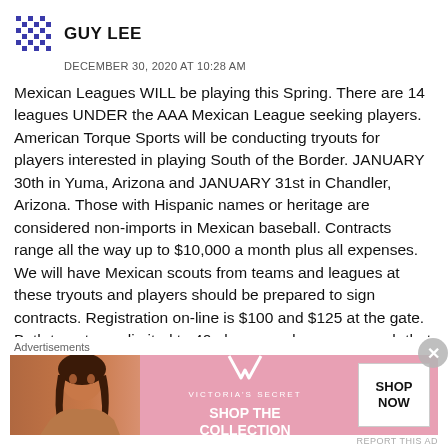GUY LEE
DECEMBER 30, 2020 AT 10:28 AM
Mexican Leagues WILL be playing this Spring. There are 14 leagues UNDER the AAA Mexican League seeking players. American Torque Sports will be conducting tryouts for players interested in playing South of the Border. JANUARY 30th in Yuma, Arizona and JANUARY 31st in Chandler, Arizona. Those with Hispanic names or heritage are considered non-imports in Mexican baseball. Contracts range all the way up to $10,000 a month plus all expenses. We will have Mexican scouts from teams and leagues at these tryouts and players should be prepared to sign contracts. Registration on-line is $100 and $125 at the gate. Both tryouts are limited to 40 players and once we reach that mark then registrations will be cut off. Each
Advertisements
[Figure (infographic): Victoria's Secret advertisement banner showing a model on left, VS logo and VICTORIA'S SECRET text in center on pink background, SHOP THE COLLECTION text, and SHOP NOW button on white background on right.]